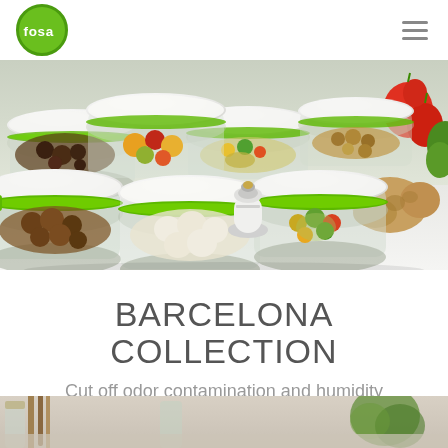[Figure (logo): Fosa brand logo — green circle with white 'fosa' text inside]
[Figure (photo): Hero product photo showing multiple round Fosa vacuum food storage containers with green lids filled with various foods (fruits, vegetables, nuts, eggs, ginger) on a white countertop, with a small vacuum pump device in the center]
BARCELONA COLLECTION
Cut off odor contamination and humidity
[Figure (photo): Partial bottom image showing a kitchen counter scene with wooden utensils and a glass container, partially visible]